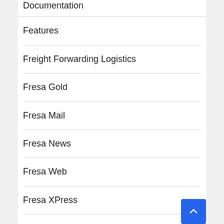Documentation
Features
Freight Forwarding Logistics
Fresa Gold
Fresa Mail
Fresa News
Fresa Web
Fresa XPress
Help Desk